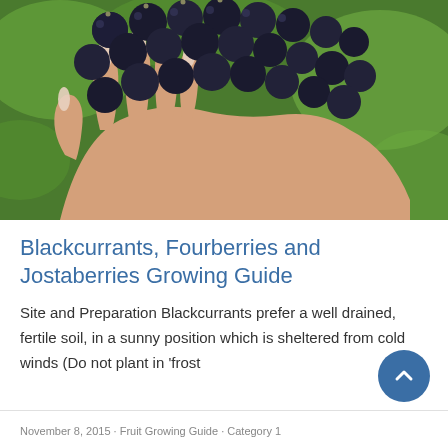[Figure (photo): Close-up photograph of a hand with light-painted fingernails holding a cluster of ripe blackcurrants against a green blurred background.]
Blackcurrants, Fourberries and Jostaberries Growing Guide
Site and Preparation Blackcurrants prefer a well drained, fertile soil, in a sunny position which is sheltered from cold winds (Do not plant in 'frost
November 8, 2015 · Fruit Growing Guide · Category 1